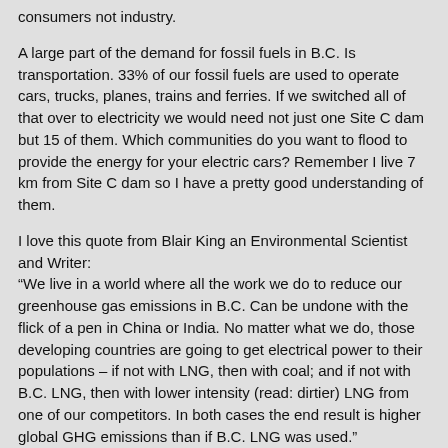consumers not industry.
A large part of the demand for fossil fuels in B.C. Is transportation. 33% of our fossil fuels are used to operate cars, trucks, planes, trains and ferries. If we switched all of that over to electricity we would need not just one Site C dam but 15 of them. Which communities do you want to flood to provide the energy for your electric cars? Remember I live 7 km from Site C dam so I have a pretty good understanding of them.
I love this quote from Blair King an Environmental Scientist and Writer: “We live in a world where all the work we do to reduce our greenhouse gas emissions in B.C. Can be undone with the flick of a pen in China or India. No matter what we do, those developing countries are going to get electrical power to their populations – if not with LNG, then with coal; and if not with B.C. LNG, then with lower intensity (read: dirtier) LNG from one of our competitors. In both cases the end result is higher global GHG emissions than if B.C. LNG was used.”
He is telling us to look outside our province and see the impact we can have on GHG on our planet. Our LNG is cleaner than the stuff already on the market because our regulations are tougher and we emit far less GHG in our production than in other countries.
Our natural gas industry is committed to continuous improvement. I